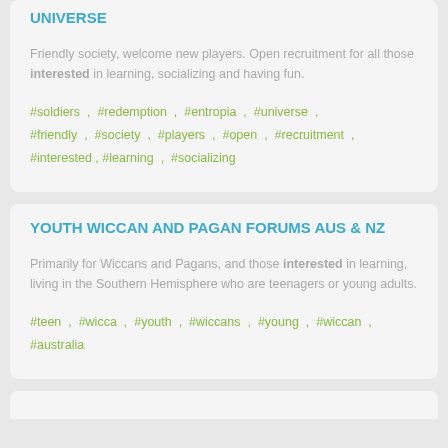UNIVERSE
Friendly society, welcome new players. Open recruitment for all those interested in learning, socializing and having fun.
#soldiers , #redemption , #entropia , #universe , #friendly , #society , #players , #open , #recruitment , #interested , #learning , #socializing
YOUTH WICCAN AND PAGAN FORUMS AUS & NZ
Primarily for Wiccans and Pagans, and those interested in learning, living in the Southern Hemisphere who are teenagers or young adults.
#teen , #wicca , #youth , #wiccans , #young , #wiccan , #australia